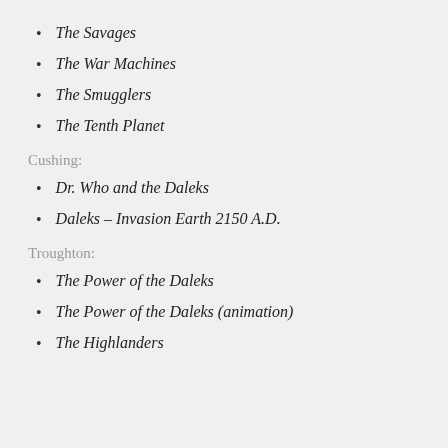The Savages
The War Machines
The Smugglers
The Tenth Planet
Cushing:
Dr. Who and the Daleks
Daleks – Invasion Earth 2150 A.D.
Troughton:
The Power of the Daleks
The Power of the Daleks (animation)
The Highlanders